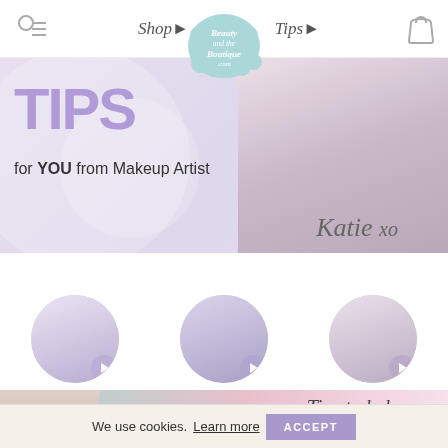Shop▶  Beauty and the Boutique .com  Tips▶
[Figure (screenshot): Hero banner with large purple TIPS text, sparkle stars, subtitle 'for YOU from Makeup Artist', cursive 'Katie xo' signature, and a blonde woman holding glasses on the right]
[Figure (photo): Three circular tip category buttons: Beauty Tips, Style Tips, Confidence Tips - each with a photo of a blonde woman and a play button]
Beauty Tips
Style Tips
Confidence Tips
[Figure (photo): Bottom banner with teal/pink gradient, partial woman photo on left, 'Tips to help you' italic text on right, and large blue text partially visible]
We use cookies.  Learn more  ACCEPT